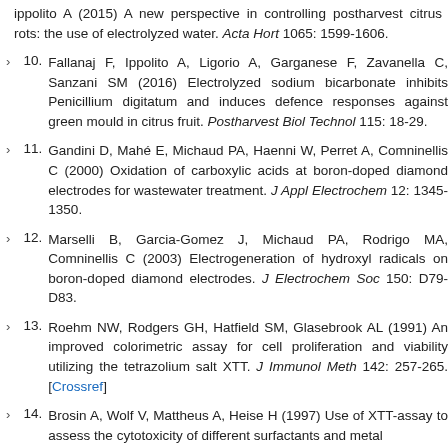ippolito A (2015) A new perspective in controlling postharvest citrus rots: the use of electrolyzed water. Acta Hort 1065: 1599-1606.
10. Fallanaj F, Ippolito A, Ligorio A, Garganese F, Zavanella C, Sanzani SM (2016) Electrolyzed sodium bicarbonate inhibits Penicillium digitatum and induces defence responses against green mould in citrus fruit. Postharvest Biol Technol 115: 18-29.
11. Gandini D, Mahé E, Michaud PA, Haenni W, Perret A, Comninellis C (2000) Oxidation of carboxylic acids at boron-doped diamond electrodes for wastewater treatment. J Appl Electrochem 12: 1345-1350.
12. Marselli B, Garcia-Gomez J, Michaud PA, Rodrigo MA, Comninellis C (2003) Electrogeneration of hydroxyl radicals on boron-doped diamond electrodes. J Electrochem Soc 150: D79-D83.
13. Roehm NW, Rodgers GH, Hatfield SM, Glasebrook AL (1991) An improved colorimetric assay for cell proliferation and viability utilizing the tetrazolium salt XTT. J Immunol Meth 142: 257-265. [Crossref]
14. Brosin A, Wolf V, Mattheus A, Heise H (1997) Use of XTT-assay to assess the cytotoxicity of different surfactants and metal salts...